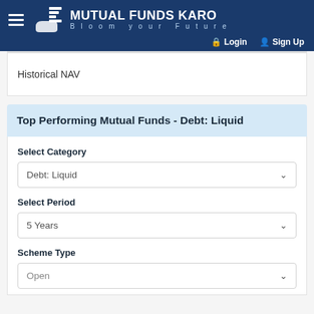MUTUAL FUNDS KARO — Bloom your Future — Login — Sign Up
Historical NAV
Top Performing Mutual Funds - Debt: Liquid
Select Category
Debt: Liquid
Select Period
5 Years
Scheme Type
Open